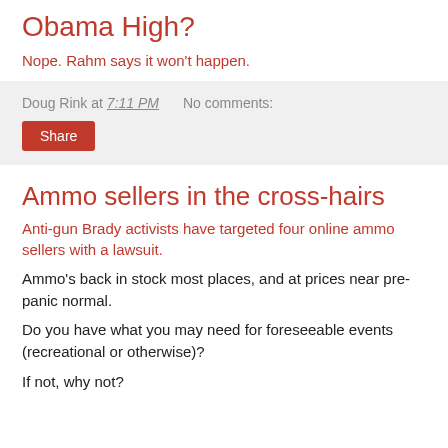Obama High?
Nope. Rahm says it won't happen.
Doug Rink at 7:11 PM   No comments:
Share
Ammo sellers in the cross-hairs
Anti-gun Brady activists have targeted four online ammo sellers with a lawsuit.
Ammo's back in stock most places, and at prices near pre-panic normal.
Do you have what you may need for foreseeable events (recreational or otherwise)?
If not, why not?